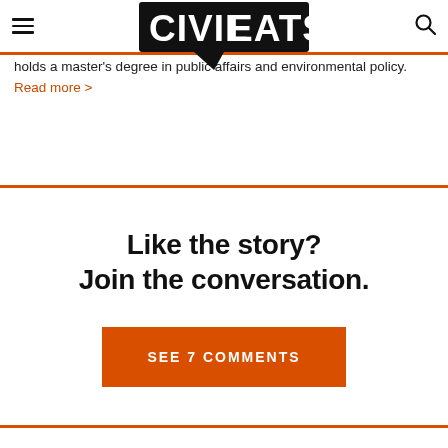Civil Eats
holds a master's [degree in public affairs and environmental policy. Read more >
Like the story?
Join the conversation.
SEE 7 COMMENTS